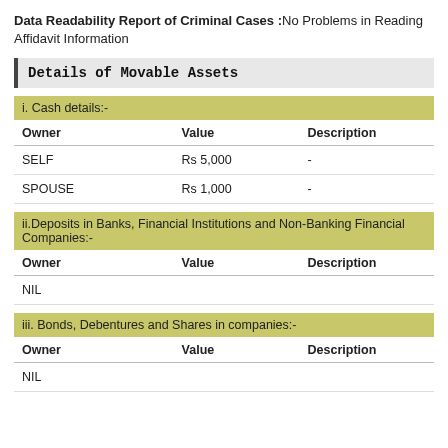Data Readability Report of Criminal Cases :No Problems in Reading Affidavit Information
Details of Movable Assets
i. Cash details:-
| Owner | Value | Description |
| --- | --- | --- |
| SELF | Rs 5,000 | - |
| SPOUSE | Rs 1,000 | - |
ii.Deposits in Banks, Financial Institutions and Non-Banking Financial Companies:-
| Owner | Value | Description |
| --- | --- | --- |
| NIL |  |  |
iii. Bonds, Debentures and Shares in companies:-
| Owner | Value | Description |
| --- | --- | --- |
| NIL |  |  |